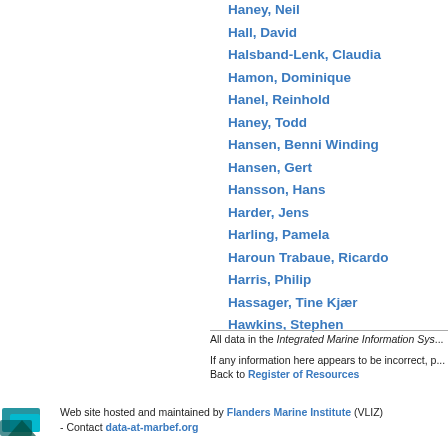Haney, Neil
Hall, David
Halsband-Lenk, Claudia
Hamon, Dominique
Hanel, Reinhold
Haney, Todd
Hansen, Benni Winding
Hansen, Gert
Hansson, Hans
Harder, Jens
Harling, Pamela
Haroun Trabaue, Ricardo
Harris, Philip
Hassager, Tine Kjær
Hawkins, Stephen
All data in the Integrated Marine Information Sys...
If any information here appears to be incorrect, p... Back to Register of Resources
Web site hosted and maintained by Flanders Marine Institute (VLIZ) - Contact data-at-marbef.org